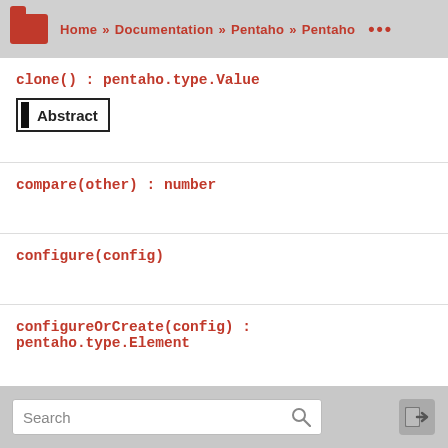Home » Documentation » Pentaho » Pentaho ...
clone() : pentaho.type.Value
Abstract
compare(other) : number
configure(config)
configureOrCreate(config) : pentaho.type.Element
Search